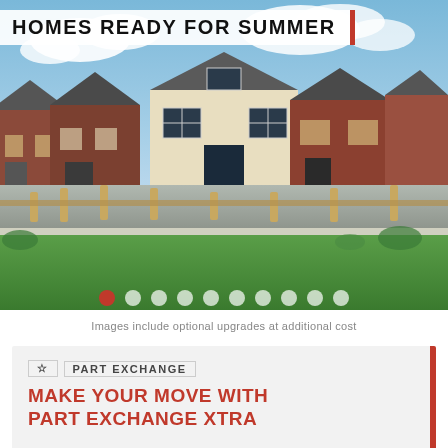HOMES READY FOR SUMMER
[Figure (photo): Exterior shot of new-build houses with brick and cream render facades, set behind a wooden fence with green lawn in the foreground, blue sky with clouds above.]
Images include optional upgrades at additional cost
☆  PART EXCHANGE
MAKE YOUR MOVE WITH PART EXCHANGE XTRA